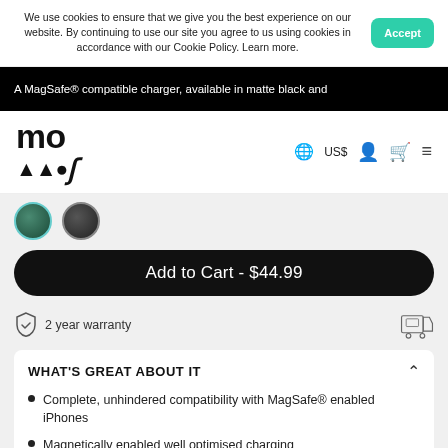We use cookies to ensure that we give you the best experience on our website. By continuing to use our site you agree to us using cookies in accordance with our Cookie Policy. Learn more.
Accept
A MagSafe® compatible charger, available in matte black and
[Figure (logo): Mous brand logo in black stylized text]
🌐 US$
Add to Cart - $44.99
2 year warranty
WHAT'S GREAT ABOUT IT
Complete, unhindered compatibility with MagSafe® enabled iPhones
Magnetically enabled well optimised charging
Available in both matte black and aramid fibre to match